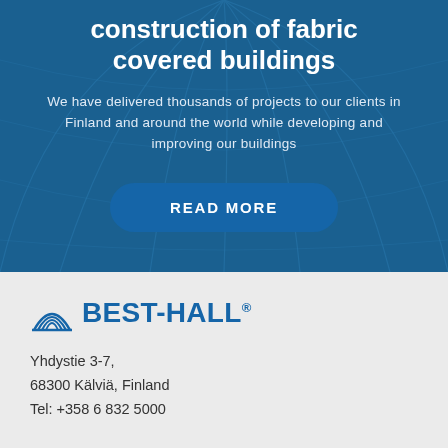construction of fabric covered buildings
We have delivered thousands of projects to our clients in Finland and around the world while developing and improving our buildings
READ MORE
[Figure (logo): Best-Hall logo with building icon and company name]
Yhdystie 3-7,
68300 Kälviä, Finland
Tel: +358 6 832 5000